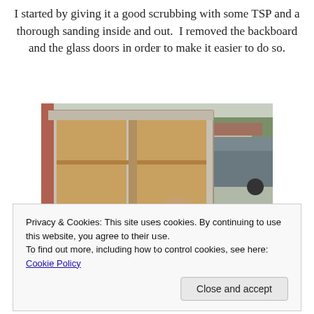I started by giving it a good scrubbing with some TSP and a thorough sanding inside and out.  I removed the backboard and the glass doors in order to make it easier to do so.
[Figure (photo): A wooden cabinet with shelves being sanded outdoors. A person is leaning over the cabinet working on it. A truck and suburban neighborhood visible in the background.]
Privacy & Cookies: This site uses cookies. By continuing to use this website, you agree to their use.
To find out more, including how to control cookies, see here: Cookie Policy
I decided I wanted to give this cabinet a few unique